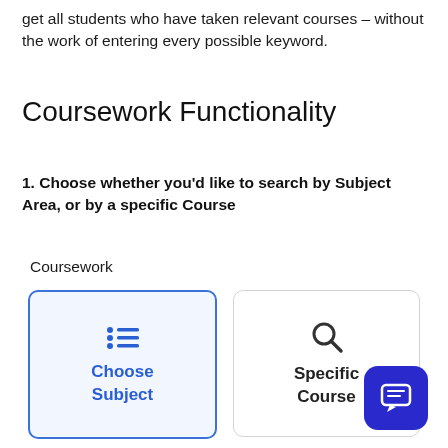get all students who have taken relevant courses – without the work of entering every possible keyword.
Coursework Functionality
1. Choose whether you'd like to search by Subject Area, or by a specific Course
Coursework
[Figure (screenshot): Two UI cards: selected 'Choose Subject' card with blue border and list icon, and unselected 'Specific Course' card with search icon. A dark blue chat button in bottom-right corner.]